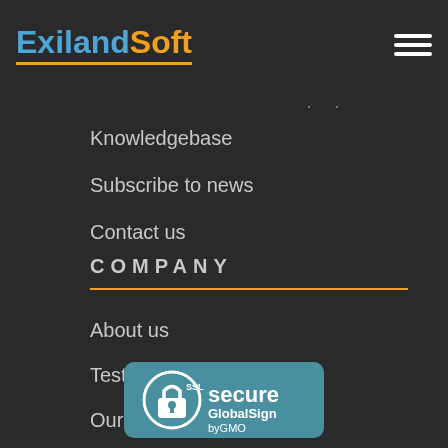[Figure (logo): ExilandSoft logo with blue 'Exiland' and orange 'Soft' text, with orange underline]
· ·
Knowledgebase
Subscribe to news
Contact us
COMPANY
About us
Testimonials
Our partners
Privacy policy
Contact us
[Figure (logo): SSL Secure GlobalSign by GMO badge — teal rounded rectangle with padlock icon and SSL text]